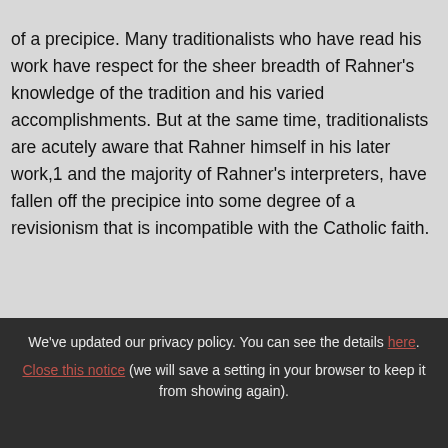of a precipice. Many traditionalists who have read his work have respect for the sheer breadth of Rahner's knowledge of the tradition and his varied accomplishments. But at the same time, traditionalists are acutely aware that Rahner himself in his later work,1 and the majority of Rahner's interpreters, have fallen off the precipice into some degree of a revisionism that is incompatible with the Catholic faith.
We've updated our privacy policy. You can see the details here. Close this notice (we will save a setting in your browser to keep it from showing again).